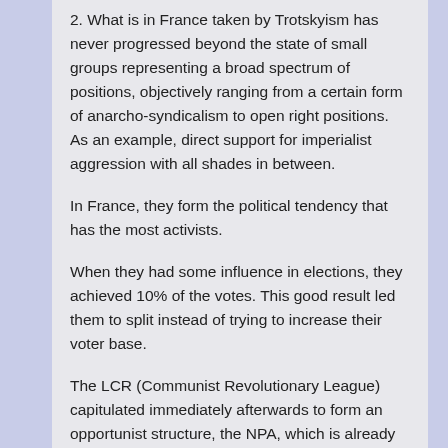2. What is in France taken by Trotskyism has never progressed beyond the state of small groups representing a broad spectrum of positions, objectively ranging from a certain form of anarcho-syndicalism to open right positions. As an example, direct support for imperialist aggression with all shades in between.
In France, they form the political tendency that has the most activists.
When they had some influence in elections, they achieved 10% of the votes. This good result led them to split instead of trying to increase their voter base.
The LCR (Communist Revolutionary League) capitulated immediately afterwards to form an opportunist structure, the NPA, which is already in its final stages. Along the way, they abandoned everything, including their Trotskyism, for